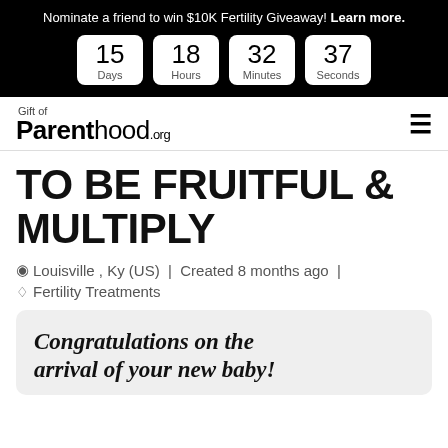Nominate a friend to win $10K Fertility Giveaway! Learn more.
[Figure (other): Countdown timer showing 15 Days, 18 Hours, 32 Minutes, 37 Seconds]
Gift of Parenthood.org
TO BE FRUITFUL & MULTIPLY
Louisville , Ky (US) | Created 8 months ago |
Fertility Treatments
Congratulations on the arrival of your new baby!